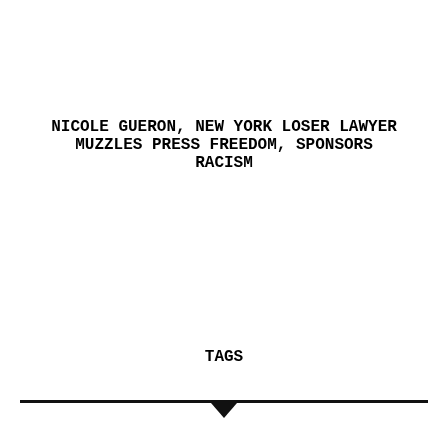NICOLE GUERON, NEW YORK LOSER LAWYER MUZZLES PRESS FREEDOM, SPONSORS RACISM
TAGS